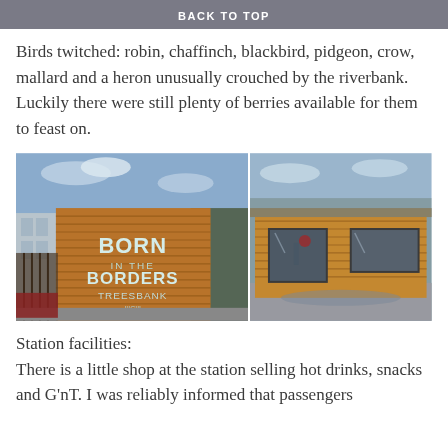BACK TO TOP
Birds twitched: robin, chaffinch, blackbird, pidgeon, crow, mallard and a heron unusually crouched by the riverbank. Luckily there were still plenty of berries available for them to feast on.
[Figure (photo): Two side-by-side photos. Left: a wooden sign reading 'BORN IN THE BORDERS TREESBANK' with a blue sky background. Right: a small modern wooden-clad building with large glass windows/doors.]
Station facilities:
There is a little shop at the station selling hot drinks, snacks and G'nT. I was reliably informed that passengers